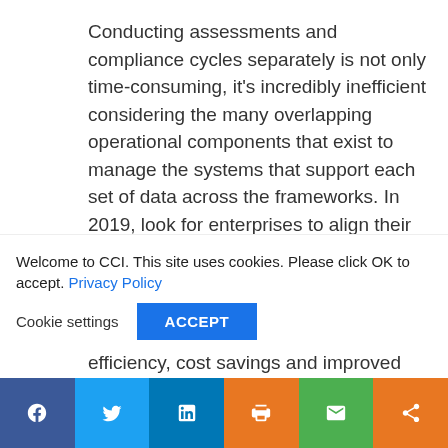Conducting assessments and compliance cycles separately is not only time-consuming, it's incredibly inefficient considering the many overlapping operational components that exist to manage the systems that support each set of data across the frameworks. In 2019, look for enterprises to align their assessment and compliance cycles, and expect a single assessment to be performed that can cover all of the requirements at one time for greater efficiency, cost savings and improved
Welcome to CCI. This site uses cookies. Please click OK to accept. Privacy Policy
Cookie settings  ACCEPT